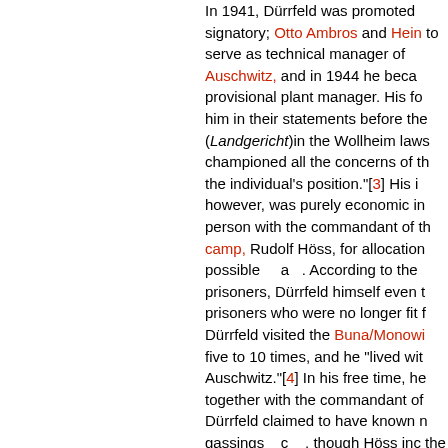In 1941, Dürrfeld was promoted signatory; Otto Ambros and Hein to serve as technical manager of Auschwitz, and in 1944 he beca provisional plant manager. His fo him in their statements before the (Landgericht)in the Wollheim laws championed all the concerns of th the individual's position."[3] His i however, was purely economic in person with the commandant of th camp, Rudolf Höss, for allocation possible a . According to the prisoners, Dürrfeld himself even t prisoners who were no longer fit f Dürrfeld visited the Buna/Monowi five to 10 times, and he "lived wit Auschwitz."[4] In his free time, he together with the commandant of Dürrfeld claimed to have known n gassings c , though Höss inc the plant grounds were vacated o Walther Dürrfeld made his way to from the Red Army, he finally retu where he was arrested by Americ and indicted in the I.G. Farben Tr decision rendered on July 29 and sentenced to eight years in prison murder e . The amnesty gra High Commissioner in Germany, prison in 1951.